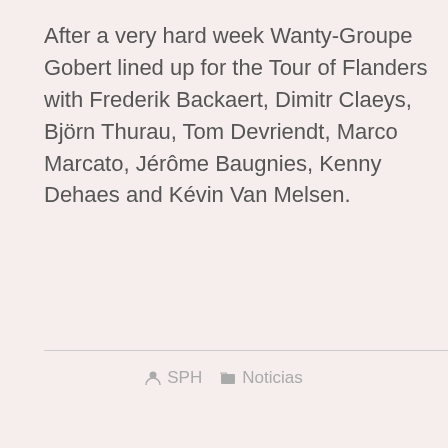After a very hard week Wanty-Groupe Gobert lined up for the Tour of Flanders with Frederik Backaert, Dimitr Claeys, Björn Thurau, Tom Devriendt, Marco Marcato, Jérôme Baugnies, Kenny Dehaes and Kévin Van Melsen.
SPH   Noticias
Read >>>
APR 04
Emotional ninth place for Claeys in Tour of Flanders